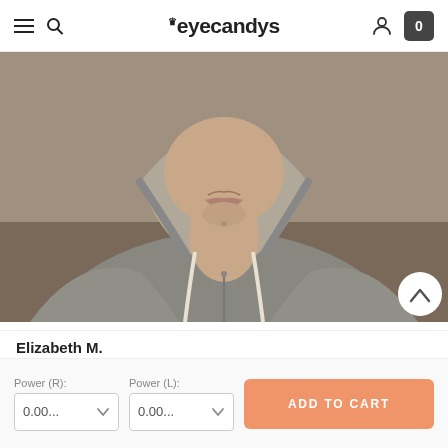eyecandys
[Figure (photo): Photo of a person wearing a grey hoodie, close-up view showing lower face, neck and upper body]
Elizabeth M.
(Fayetteville, US)
Verified
04/03/2022
★★★★★ (5 stars)
Power (R):
0.00...
Power (L):
0.00...
ADD TO CART